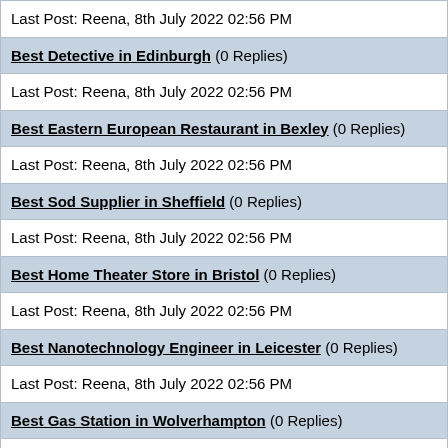Last Post: Reena, 8th July 2022 02:56 PM
Best Detective in Edinburgh (0 Replies)
Last Post: Reena, 8th July 2022 02:56 PM
Best Eastern European Restaurant in Bexley (0 Replies)
Last Post: Reena, 8th July 2022 02:56 PM
Best Sod Supplier in Sheffield (0 Replies)
Last Post: Reena, 8th July 2022 02:56 PM
Best Home Theater Store in Bristol (0 Replies)
Last Post: Reena, 8th July 2022 02:56 PM
Best Nanotechnology Engineer in Leicester (0 Replies)
Last Post: Reena, 8th July 2022 02:56 PM
Best Gas Station in Wolverhampton (0 Replies)
Last Post: Reena, 8th July 2022 02:56 PM
Best Handicrafts Wholesaler in London (0 Replies)
Last Post: Reena, 8th July 2022 02:55 PM
Best Power Plant Equipment Supplier in Derby (0 Replies)
Last Post: Reena, 8th July 2022 02:55 PM
Best Wheel Store in Newport (0 Replies)
Last Post: Reena, 8th July 2022 02:55 PM